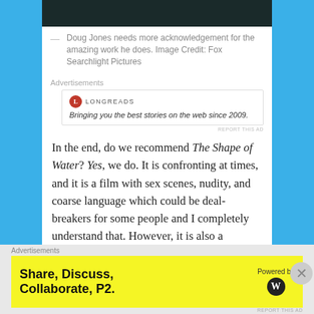[Figure (photo): Dark image strip at top of page]
— Doug Jones needs more acknowledgement for the amazing work he does. Image Credit: Fox Searchlight Pictures
Advertisements
[Figure (screenshot): Longreads advertisement: circle logo with L, text 'LONGREADS', tagline 'Bringing you the best stories on the web since 2009.']
REPORT THIS AD
In the end, do we recommend The Shape of Water? Yes, we do. It is confronting at times, and it is a film with sex scenes, nudity, and coarse language which could be deal-breakers for some people and I completely understand that. However, it is also a fascinating critique of Americana, and once you dive under the surface of the film, there is a whole lot for you to ruminate on and the last song will help you leave the cinemas with a spring in
Advertisements
[Figure (screenshot): Yellow advertisement: 'Share, Discuss, Collaborate, P2.' with 'Powered by' WordPress logo]